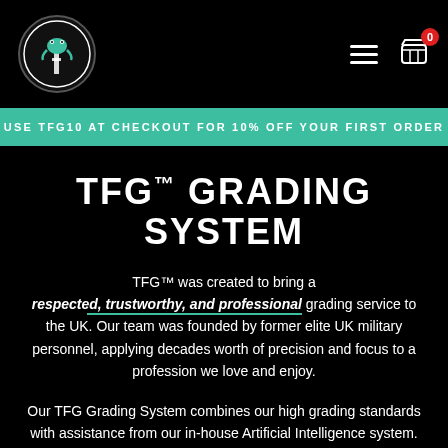[Figure (logo): Circular logo with frog/tree illustration on black background with white border]
USE TFG10 AT CHECKOUT FOR 10% OFF YOUR FIRST ORDER
TFG™ GRADING SYSTEM
TFG™ was created to bring a respected, trustworthy, and professional grading service to the UK. Our team was founded by former elite UK military personnel, applying decades worth of precision and focus to a profession we love and enjoy.
Our TFG Grading System combines our high grading standards with assistance from our in-house Artificial Intelligence system. We have gathered millions of dat...